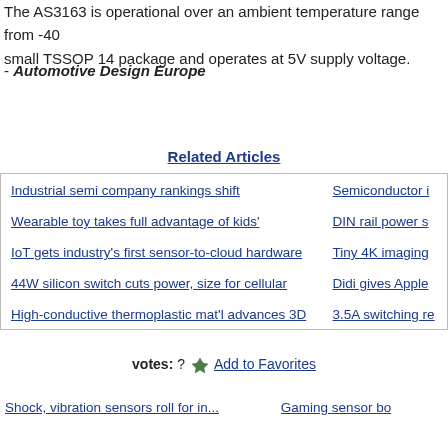The AS3163 is operational over an ambient temperature range from -40… small TSSOP 14 package and operates at 5V supply voltage.
- Automotive Design Europe
Related Articles
Industrial semi company rankings shift
Semiconductor i…
Wearable toy takes full advantage of kids'
DIN rail power s…
IoT gets industry's first sensor-to-cloud hardware
Tiny 4K imaging…
44W silicon switch cuts power, size for cellular
Didi gives Apple…
High-conductive thermoplastic mat'l advances 3D
3.5A switching re…
votes: ? Add to Favorites
Shock, vibration sensors roll for in...
Gaming sensor bo…